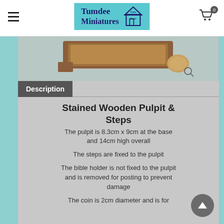Tumdee Dolls House Miniatures — navigation header with logo and cart
[Figure (photo): Cropped product photo of a stained wooden pulpit miniature with steps, brown wood color, shown from above on a beige surface]
Description
Stained Wooden Pulpit & Steps
The pulpit is 8.3cm x 9cm at the base and 14cm high overall
The steps are fixed to the pulpit
The bible holder is not fixed to the pulpit and is removed for posting to prevent damage
The coin is 2cm diameter and is for